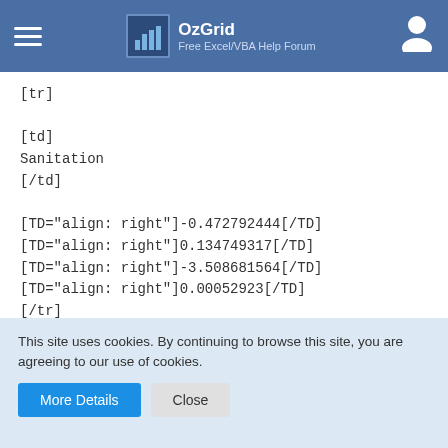OzGrid — Free Excel/VBA Help Forum
[tr]

[td]
Sanitation
[/td]

[TD="align: right"]-0.472792444[/TD]
[TD="align: right"]0.134749317[/TD]
[TD="align: right"]-3.508681564[/TD]
[TD="align: right"]0.00052923[/TD]
[/tr]

[tr]
This site uses cookies. By continuing to browse this site, you are agreeing to our use of cookies.